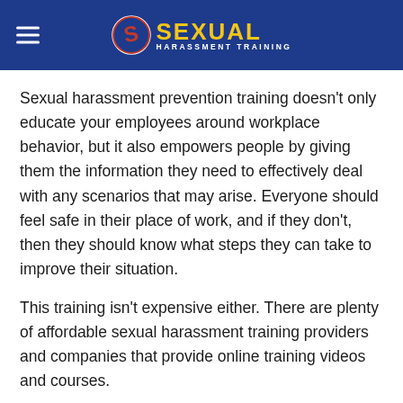SEXUAL HARASSMENT TRAINING
Sexual harassment prevention training doesn't only educate your employees around workplace behavior, but it also empowers people by giving them the information they need to effectively deal with any scenarios that may arise. Everyone should feel safe in their place of work, and if they don't, then they should know what steps they can take to improve their situation.
This training isn't expensive either. There are plenty of affordable sexual harassment training providers and companies that provide online training videos and courses.
Who benefits from sexual harassment training?